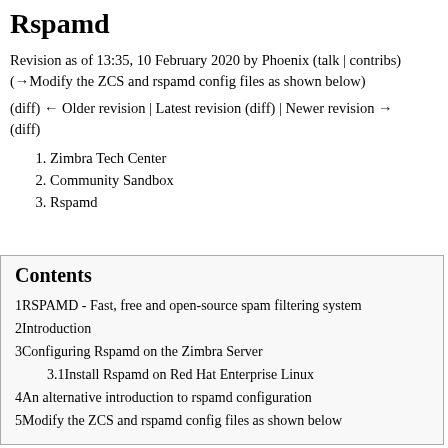Rspamd
Revision as of 13:35, 10 February 2020 by Phoenix (talk | contribs)
(→Modify the ZCS and rspamd config files as shown below)
(diff) ← Older revision | Latest revision (diff) | Newer revision → (diff)
1. Zimbra Tech Center
2. Community Sandbox
3. Rspamd
Contents
1  RSPAMD - Fast, free and open-source spam filtering system
2  Introduction
3  Configuring Rspamd on the Zimbra Server
3.1  Install Rspamd on Red Hat Enterprise Linux
4  An alternative introduction to rspamd configuration
5  Modify the ZCS and rspamd config files as shown below
6  Some Training...